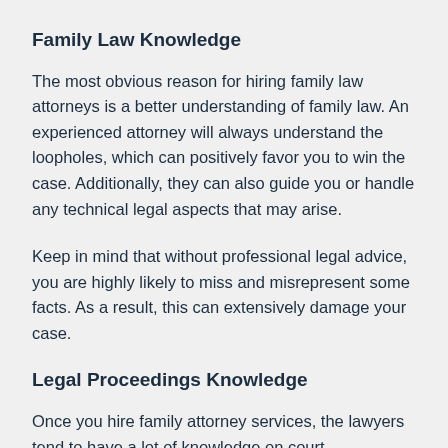Family Law Knowledge
The most obvious reason for hiring family law attorneys is a better understanding of family law. An experienced attorney will always understand the loopholes, which can positively favor you to win the case. Additionally, they can also guide you or handle any technical legal aspects that may arise.
Keep in mind that without professional legal advice, you are highly likely to miss and misrepresent some facts. As a result, this can extensively damage your case.
Legal Proceedings Knowledge
Once you hire family attorney services, the lawyers tend to have a lot of knowledge on court